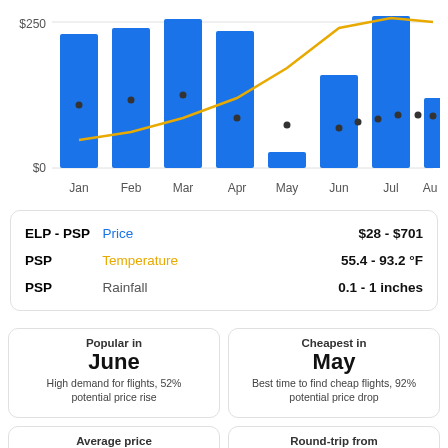[Figure (bar-chart): ELP-PSP flight prices and PSP temperature/rainfall by month]
ELP - PSP  Price  $28 - $701
PSP  Temperature  55.4 - 93.2 °F
PSP  Rainfall  0.1 - 1 inches
Popular in
June
High demand for flights, 52% potential price rise
Cheapest in
May
Best time to find cheap flights, 92% potential price drop
Average price
$128
Average for round-trip flights in
Round-trip from
$28
From El Paso to Palm Springs